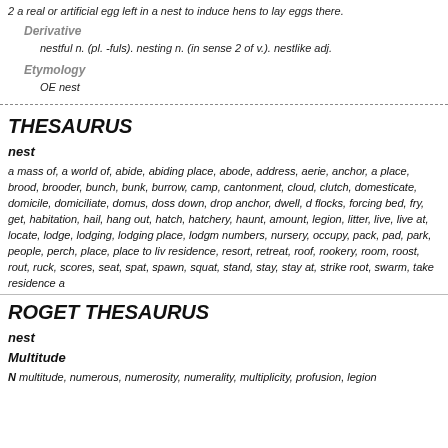2 a real or artificial egg left in a nest to induce hens to lay eggs there.
Derivative
nestful n. (pl. -fuls). nesting n. (in sense 2 of v.). nestlike adj.
Etymology
OE nest
THESAURUS
nest
a mass of, a world of, abide, abiding place, abode, address, aerie, anchor, a place, brood, brooder, bunch, bunk, burrow, camp, cantonment, cloud, clutch, domesticate, domicile, domiciliate, domus, doss down, drop anchor, dwell, d flocks, forcing bed, fry, get, habitation, hail, hang out, hatch, hatchery, haunt, amount, legion, litter, live, live at, locate, lodge, lodging, lodging place, lodgm numbers, nursery, occupy, pack, pad, park, people, perch, place, place to live, residence, resort, retreat, roof, rookery, room, roost, rout, ruck, scores, seat, spat, spawn, squat, stand, stay, stay at, strike root, swarm, take residence a
ROGET THESAURUS
nest
Multitude
N multitude, numerous, numerosity, numerality, multiplicity, profusion, legion